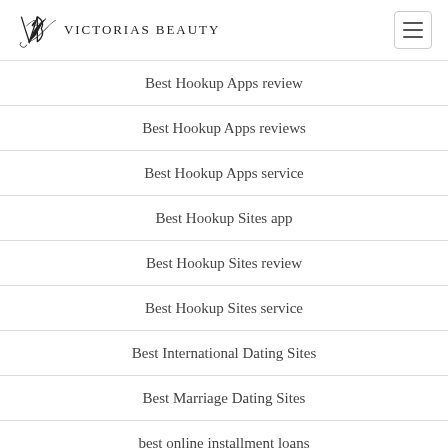Victorias Beauty
Best Hookup Apps review
Best Hookup Apps reviews
Best Hookup Apps service
Best Hookup Sites app
Best Hookup Sites review
Best Hookup Sites service
Best International Dating Sites
Best Marriage Dating Sites
best online installment loans